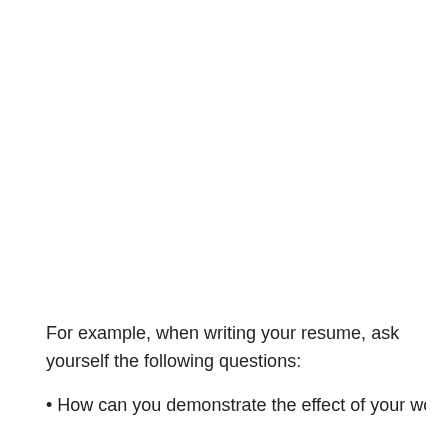For example, when writing your resume, ask yourself the following questions:
• How can you demonstrate the effect of your work?